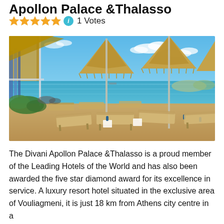Apollon Palace & Thalasso
★★★★★ ℹ 1 Votes
[Figure (photo): Beach scene at Divani Apollon Palace & Thalasso showing straw umbrellas, sun loungers on sandy beach with turquoise sea in background]
The Divani Apollon Palace &Thalasso is a proud member of the Leading Hotels of the World and has also been awarded the five star diamond award for its excellence in service. A luxury resort hotel situated in the exclusive area of Vouliagmeni, it is just 18 km from Athens city centre in a...